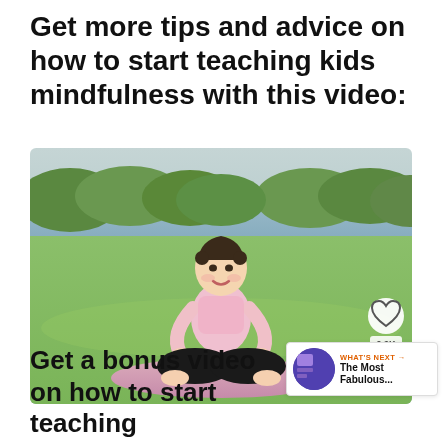Get more tips and advice on how to start teaching kids mindfulness with this video:
[Figure (photo): A young girl sitting in a lotus meditation pose on a pink yoga mat outdoors on green grass, with a lake and trees in the background. Social share buttons and a heart icon with count 9.9K are overlaid on the right side.]
Get a bonus video on how to start teaching
WHAT'S NEXT → The Most Fabulous...